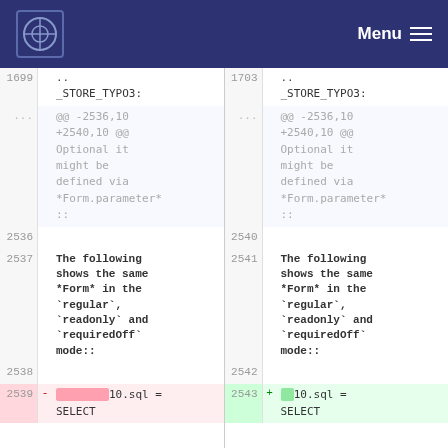Menu
| line-old | content-old | line-new | content-new |
| --- | --- | --- | --- |
| 1699 | ..
_STORE_TYPO3: | 1703 | ..
_STORE_TYPO3: |
| ... | @@ -2536,10 +2540,10 @@ Optional it might be defined via *Form.parameter* :: | ... | @@ -2536,10 +2540,10 @@ Optional it might be defined via *Form.parameter* :: |
| 2536 |  | 2540 |  |
| 2537 | The following shows the same *Form* in the `regular`, `readonly` and `requiredOff` mode:: | 2541 | The following shows the same *Form* in the `regular`, `readonly` and `requiredOff` mode:: |
| 2538 |  | 2542 |  |
| 2539 | - [highlighted]10.sql = SELECT | 2543 | + [highlighted]10.sql = SELECT |